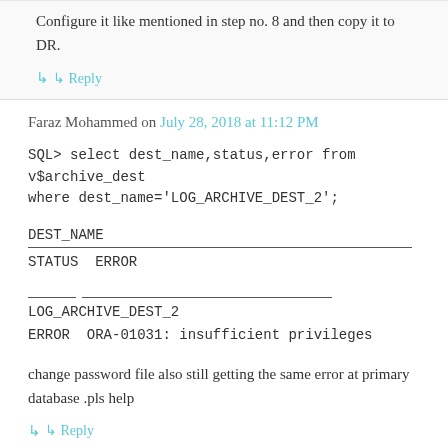Configure it like mentioned in step no. 8 and then copy it to DR.
↳ Reply
Faraz Mohammed on July 28, 2018 at 11:12 PM
SQL> select dest_name,status,error from v$archive_dest where dest_name='LOG_ARCHIVE_DEST_2';
DEST_NAME
——————————————————————
STATUS ERROR
—————— ——————————————————————
LOG_ARCHIVE_DEST_2
ERROR ORA-01031: insufficient privileges
change password file also still getting the same error at primary database .pls help
↳ Reply